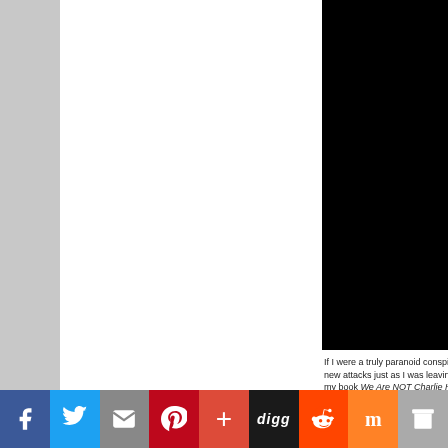[Figure (photo): Black background with partial white large italic serif letters 'C' and 'N' visible on the right side — appears to be a book cover cropped at the edge]
If I were a truly paranoid conspira new attacks just as I was leaving my book We Are NOT Charlie He January.
[Figure (infographic): Social sharing toolbar with icons for Facebook, Twitter, Email, Pinterest, Plus, Digg, Reddit, Mix/StumbleUpon, and Archive]